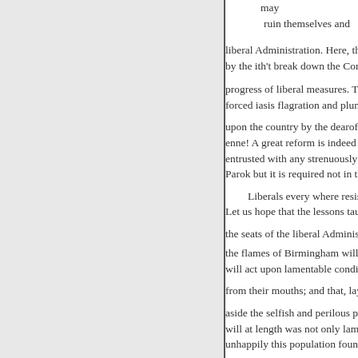may ruin themselves and liberal Administration. Here, the by the ith't break down the Cons progress of liberal measures. Tru forced iasis flagration and plund upon the country by the dearof th enne! A great reform is indeed w entrusted with any strenuously c Parok but it is required not in the Liberals every where resisted Let us hope that the lessons taug the seats of the liberal Administr the flames of Birmingham will n will act upon lamentable conditi from their mouths; and that, layi aside the selfish and perilous pu will at length was not only lame unhappily this population founda or welfare, is to be found in the e